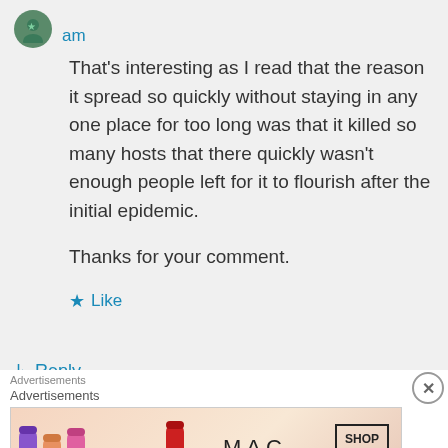am
That's interesting as I read that the reason it spread so quickly without staying in any one place for too long was that it killed so many hosts that there quickly wasn't enough people left for it to flourish after the initial epidemic.
Thanks for your comment.
★ Like
↳ Reply
Advertisements
[Figure (photo): MAC cosmetics advertisement banner showing colorful lipsticks with MAC logo and SHOP NOW button]